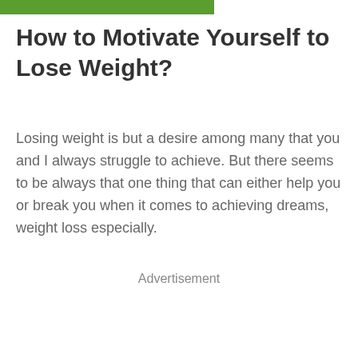[Figure (other): Green header bar partially visible at top of page]
How to Motivate Yourself to Lose Weight?
Losing weight is but a desire among many that you and I always struggle to achieve. But there seems to be always that one thing that can either help you or break you when it comes to achieving dreams, weight loss especially.
Advertisement